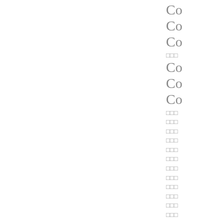Co
Co
Co
□□□
Co
Co
Co
□□□
□□□
□□□
□□□
□□□
□□□
□□□
□□□
□□□
□□□
□□□
□□□